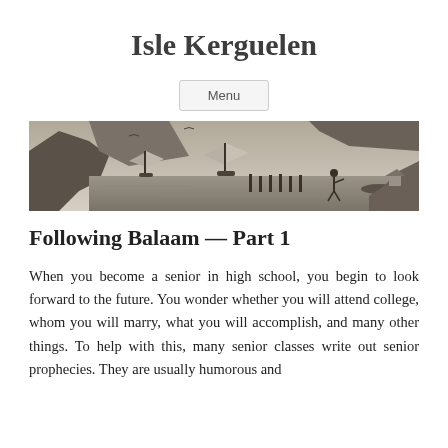Isle Kerguelen
[Figure (illustration): A sepia-toned engraving showing a harbor or bay scene with sailing ships in the distance, rocky cliffs in the background, wooden dock posts in the water, and a figure standing on the shore with a small boat nearby. The style is a historical maritime illustration.]
Following Balaam — Part 1
When you become a senior in high school, you begin to look forward to the future. You wonder whether you will attend college, whom you will marry, what you will accomplish, and many other things. To help with this, many senior classes write out senior prophecies. They are usually humorous and